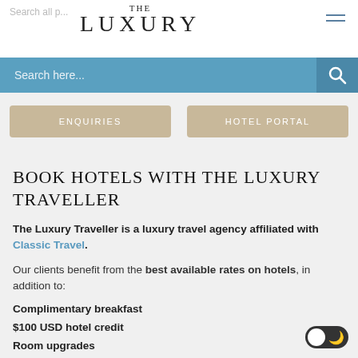THE LUXURY
Search here...
ENQUIRIES
HOTEL PORTAL
BOOK HOTELS WITH THE LUXURY TRAVELLER
The Luxury Traveller is a luxury travel agency affiliated with Classic Travel.
Our clients benefit from the best available rates on hotels, in addition to:
Complimentary breakfast
$100 USD hotel credit
Room upgrades
Early check-in and late check-out
All of your points earning, elite benefits and stay credit will be honoured, as hotels consider our bookings to be direct bookings.